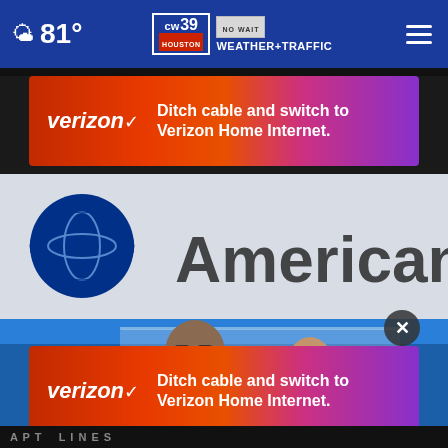81° CW39 Houston NO WAIT WEATHER+TRAFFIC
[Figure (screenshot): Verizon advertisement banner: 'Ditch cable and switch to Verizon Home Internet.' with gradient background red to purple]
[Figure (photo): American Airlines check-in counter scene with employee wearing red mask and 'American' branding visible on wall with blue globe logo]
[Figure (screenshot): Second Verizon advertisement banner: 'Ditch cable and switch to Verizon Home Internet.' with gradient background red to purple]
A P T LINES